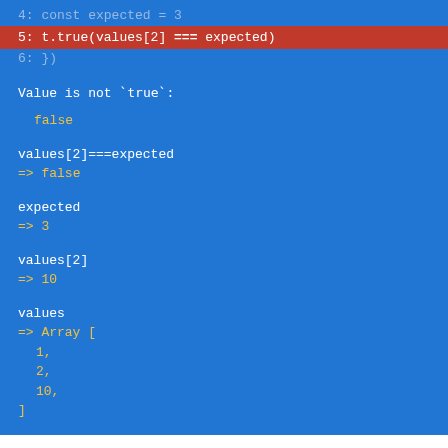[Figure (screenshot): Terminal/test output screenshot on blue background showing a failing test. Line 5 is highlighted in red: 't.true(values[2] === expected)'. Followed by output showing: Value is not `true`: false, values[2]===expected => false, expected => 3, values[2] => 10, values => Array [1, 2, 10,]]
Note the wealth of useful information shown automatically. It's almost everything a developer might need to debug the failure:
Failed test source file and line number